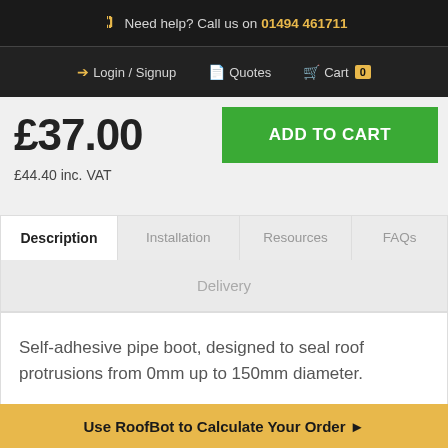Need help? Call us on 01494 461711
Login / Signup   Quotes   Cart 0
£37.00
£44.40 inc. VAT
Description   Installation   Resources   FAQs
Delivery
Self-adhesive pipe boot, designed to seal roof protrusions from 0mm up to 150mm diameter.
Use RoofBot to Calculate Your Order ▶